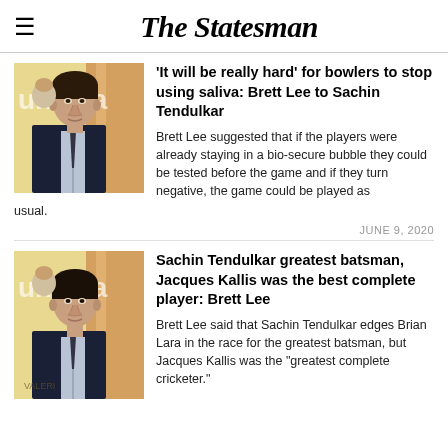The Statesman
[Figure (photo): Portrait photo of Brett Lee at an event with branded backdrop]
'It will be really hard' for bowlers to stop using saliva: Brett Lee to Sachin Tendulkar
Brett Lee suggested that if the players were already staying in a bio-secure bubble they could be tested before the game and if they turn negative, the game could be played as usual.
JUNE 9, 2020
[Figure (photo): Portrait photo of Brett Lee at an event with branded backdrop]
Sachin Tendulkar greatest batsman, Jacques Kallis was the best complete player: Brett Lee
Brett Lee said that Sachin Tendulkar edges Brian Lara in the race for the greatest batsman, but Jacques Kallis was the "greatest complete cricketer."